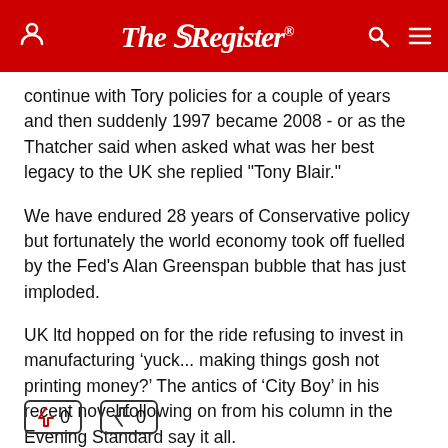The Register
continue with Tory policies for a couple of years and then suddenly 1997 became 2008 - or as the Thatcher said when asked what was her best legacy to the UK she replied "Tony Blair."
We have endured 28 years of Conservative policy but fortunately the world economy took off fuelled by the Fed's Alan Greenspan bubble that has just imploded.
UK ltd hopped on for the ride refusing to invest in manufacturing ‘yuck... making things gosh not printing money?’ The antics of ‘City Boy’ in his recent novel following on from his column in the Evening Standard say it all.
British Government has become essentially sidelined and struggles to catch up with economic and financial...
Expand Comment